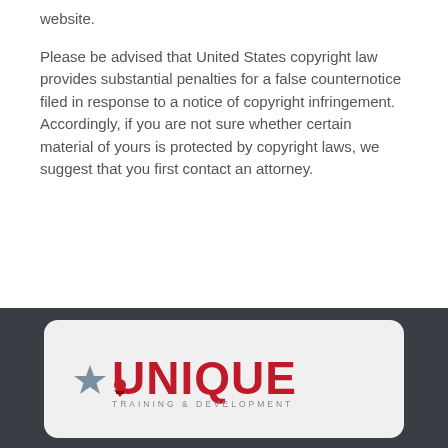website.
Please be advised that United States copyright law provides substantial penalties for a false counternotice filed in response to a notice of copyright infringement. Accordingly, if you are not sure whether certain material of yours is protected by copyright laws, we suggest that you first contact an attorney.
[Figure (logo): Unique Training & Development logo with red star and ribbon icon]